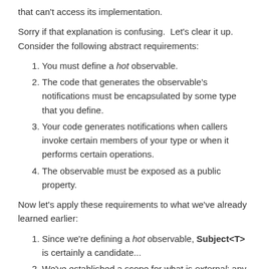that can't access its implementation.
Sorry if that explanation is confusing.  Let's clear it up. Consider the following abstract requirements:
You must define a hot observable.
The code that generates the observable's notifications must be encapsulated by some type that you define.
Your code generates notifications when callers invoke certain members of your type or when it performs certain operations.
The observable must be exposed as a public property.
Now let's apply these requirements to what we've already learned earlier:
Since we're defining a hot observable, Subject<T> is certainly a candidate...
We've established a scope for what is external: any source defined by another type and referenced by ours